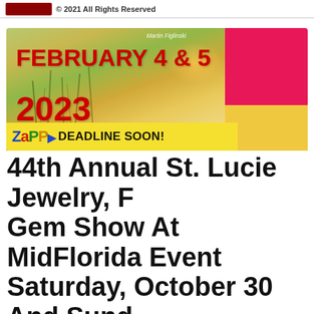© 2021 All Rights Reserved
[Figure (illustration): Event banner for February 4 & 5 2023 with landscape painting background, Zapp logo, and DEADLINE SOON! text. Credit: Martin Figlinski.]
44th Annual St. Lucie Jewelry, Fossil & Gem Show At MidFlorida Event Center Saturday, October 30 And Sunday, October 31. Classes, Demonstrations, Raffles. Discount Coupon For Admission: $8 For Adults, Children Under Age 12 Admitted Free